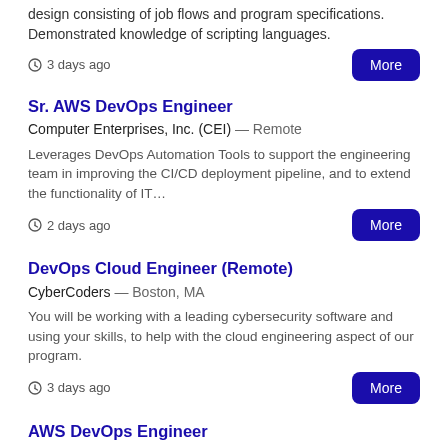design consisting of job flows and program specifications. Demonstrated knowledge of scripting languages.
3 days ago
Sr. AWS DevOps Engineer
Computer Enterprises, Inc. (CEI) — Remote
Leverages DevOps Automation Tools to support the engineering team in improving the CI/CD deployment pipeline, and to extend the functionality of IT…
2 days ago
DevOps Cloud Engineer (Remote)
CyberCoders — Boston, MA
You will be working with a leading cybersecurity software and using your skills, to help with the cloud engineering aspect of our program.
3 days ago
AWS DevOps Engineer
Hire With Jarvis — Miami, FL
This DevOps Engineer would be for...